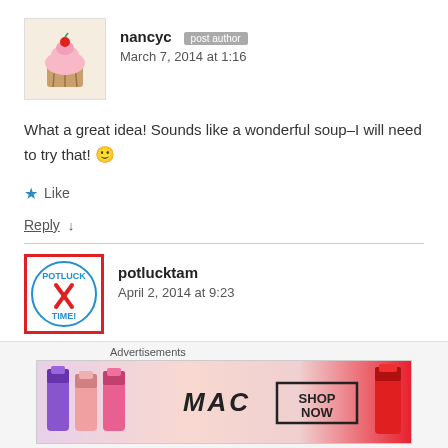[Figure (photo): Avatar of nancyc showing a cupcake with pink frosting and a cherry]
nancyc [post author] March 7, 2014 at 1:16
What a great idea! Sounds like a wonderful soup–I will need to try that! 🙂
★ Like
Reply ↓
[Figure (logo): potlucktam avatar: red-bordered circle with POTLUCK TIME text and crossed fork/knife icon]
potlucktam April 2, 2014 at 9:23
Advertisements
[Figure (photo): MAC cosmetics advertisement banner showing lipsticks and MAC logo with SHOP NOW box]